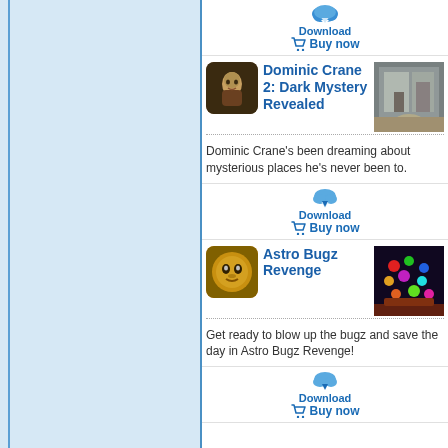[Figure (screenshot): Left navigation panel with light blue background]
Download
🛒 Buy now
Dominic Crane 2: Dark Mystery Revealed
[Figure (photo): Portrait thumbnail of Dominic Crane character]
[Figure (screenshot): Screenshot of Dominic Crane 2 game showing stone architecture]
Dominic Crane's been dreaming about mysterious places he's never been to.
Download
🛒 Buy now
Astro Bugz Revenge
[Figure (photo): Astro Bugz character icon - golden alien face]
[Figure (screenshot): Screenshot of Astro Bugz Revenge game showing colorful bubbles in space]
Get ready to blow up the bugz and save the day in Astro Bugz Revenge!
Download
🛒 Buy now